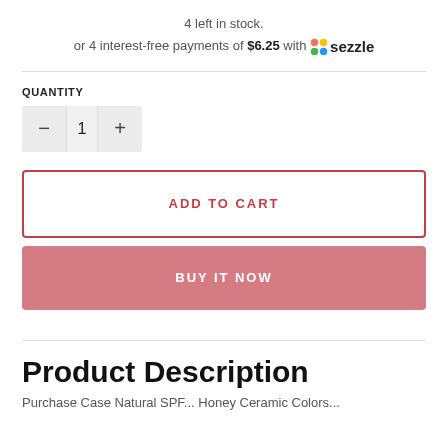4 left in stock.
or 4 interest-free payments of $6.25 with Sezzle
QUANTITY
− 1 +
ADD TO CART
BUY IT NOW
Product Description
Purchase Case Natural SPF... Honey Ceramic Colors...